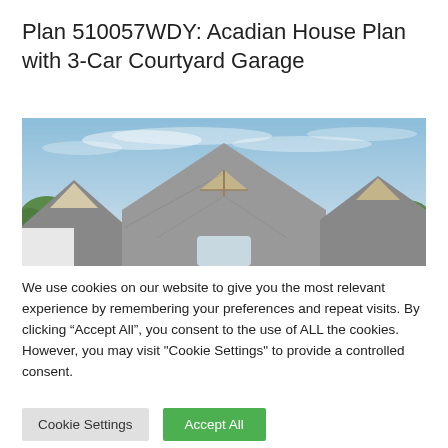Plan 510057WDY: Acadian House Plan with 3-Car Courtyard Garage
[Figure (photo): Exterior photo of an Acadian-style house showing multiple steep gabled rooflines with gray shingles and decorative wood gable accents, blue sky with light clouds in background, green trees on sides.]
We use cookies on our website to give you the most relevant experience by remembering your preferences and repeat visits. By clicking “Accept All”, you consent to the use of ALL the cookies. However, you may visit "Cookie Settings" to provide a controlled consent.